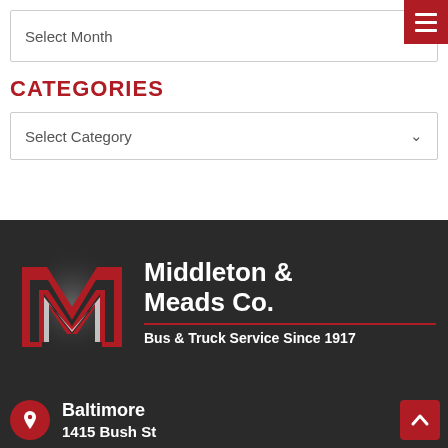Select Month
CATEGORIES
Select Category
[Figure (logo): Middleton & Meads Co. logo with a large red M on dark background, company name in white bold text, tagline Bus & Truck Service Since 1917]
Baltimore
1415 Bush St